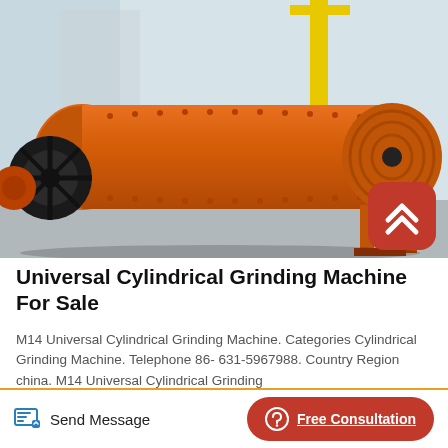[Figure (photo): Large orange cylindrical ball mill / grinding machine sitting on a factory floor outdoors, with black gear wheels on left side and orange support legs. Industrial building visible in background. A red rounded back-to-top button with white chevron arrow is overlaid in the bottom-right corner of the image.]
Universal Cylindrical Grinding Machine For Sale
M14 Universal Cylindrical Grinding Machine. Categories Cylindrical Grinding Machine. Telephone 86- 631-5967988. Country Region china. M14 Universal Cylindrical Grinding
Send Message
Free Consultation